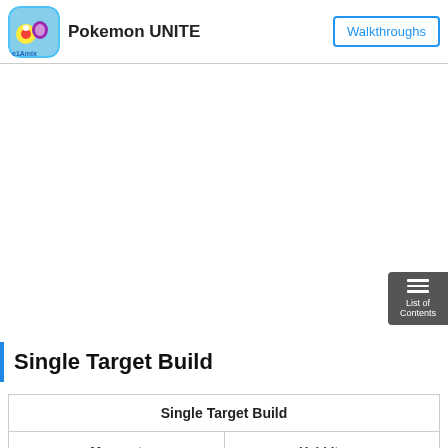Pokemon UNITE | Walkthroughs
Single Target Build
| Single Target Build |  |
| --- | --- |
| Moveset | Held Items |
| [icon] |  |